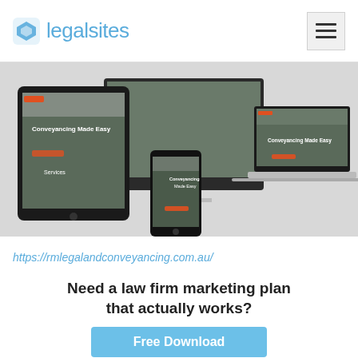legalsites
[Figure (screenshot): Screenshot of rmlegalandconveyancing.com.au website shown on multiple devices: tablet, smartphone, desktop monitor, and laptop. The website shows 'Conveyancing Made Easy' hero text with background photo of people.]
https://rmlegalandconveyancing.com.au/
Need a law firm marketing plan that actually works?
Free Download